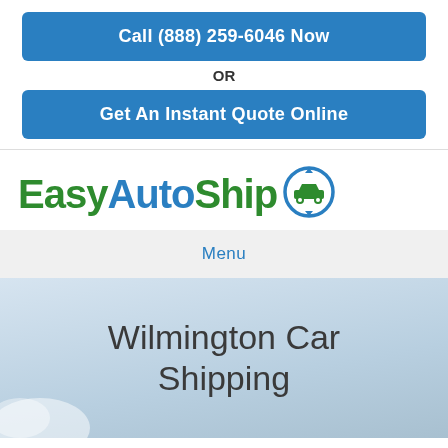Call (888) 259-6046 Now
OR
Get An Instant Quote Online
[Figure (logo): EasyAutoShip logo with green and blue text and car icon with circular arrows]
Menu
Wilmington Car Shipping